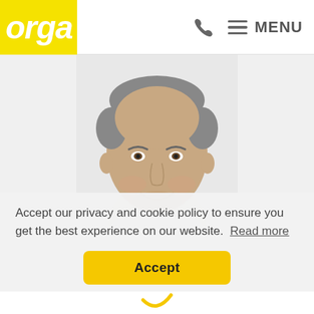orga | phone icon | MENU
[Figure (photo): Portrait photo of a middle-aged man with short hair, smiling, wearing a white shirt, shown from shoulders up against a light background.]
Accept our privacy and cookie policy to ensure you get the best experience on our website.  Read more
Accept